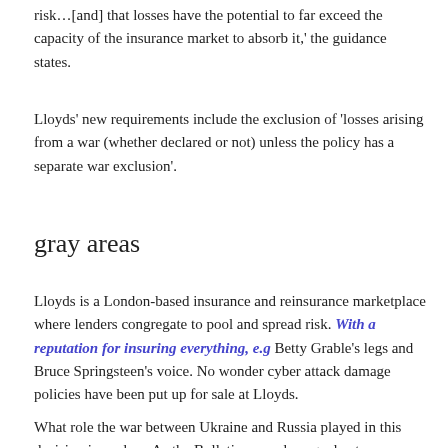risk…[and] that losses have the potential to far exceed the capacity of the insurance market to absorb it,' the guidance states.
Lloyds' new requirements include the exclusion of 'losses arising from a war (whether declared or not) unless the policy has a separate war exclusion'.
gray areas
Lloyds is a London-based insurance and reinsurance marketplace where lenders congregate to pool and spread risk. With a reputation for insuring everything, e.g Betty Grable's legs and Bruce Springsteen's voice. No wonder cyber attack damage policies have been put up for sale at Lloyds.
What role the war between Ukraine and Russia played in this decision is unclear. As the Bulletin says, damage due to an actual "kinetic" war were always in a separate claim class. But what is a war these days? In 2007, Estonia faced a massive cyber attack that they blamed on Russia. No war was declared, and Russia denied involvement. Russia was also blamed by the US government for cyberattacks on US interests in the 2016 election. But